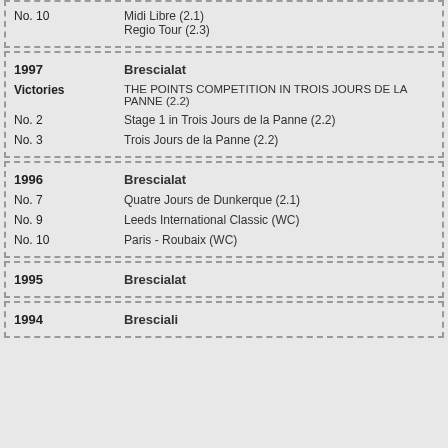| No. 10 | Midi Libre (2.1)
Regio Tour (2.3) |
| 1997 | Brescialat |
| Victories | THE POINTS COMPETITION IN TROIS JOURS DE LA PANNE (2.2) |
| No. 2 | Stage 1 in Trois Jours de la Panne (2.2) |
| No. 3 | Trois Jours de la Panne (2.2) |
| 1996 | Brescialat |
| No. 7 | Quatre Jours de Dunkerque (2.1) |
| No. 9 | Leeds International Classic (WC) |
| No. 10 | Paris - Roubaix (WC) |
| 1995 | Brescialat |
| 1994 | Bresciali |